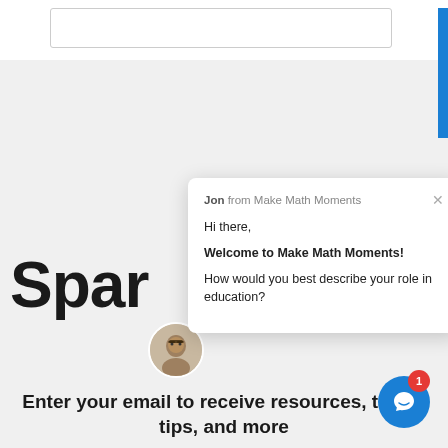[Figure (screenshot): Input text box at top of page]
[Figure (screenshot): Chat popup from Jon at Make Math Moments with messages: Hi there, Welcome to Make Math Moments!, How would you best describe your role in education?]
Jon from Make Math Moments
Hi there,
Welcome to Make Math Moments!
How would you best describe your role in education?
Spar
Enter your email to receive resources, tasks, tips, and more
[Figure (illustration): Blue circular chat button with smiley face icon and red notification badge showing 1]